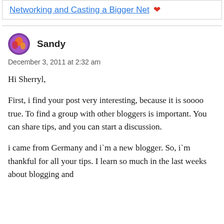Networking and Casting a Bigger Net
Sandy
December 3, 2011 at 2:32 am
Hi Sherryl,

First, i find your post very interesting, because it is soooo true. To find a group with other bloggers is important. You can share tips, and you can start a discussion.

i came from Germany and i`m a new blogger. So, i`m thankful for all your tips. I learn so much in the last weeks about blogging and